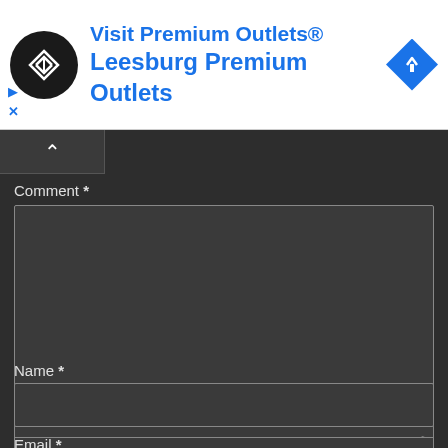[Figure (screenshot): Advertisement banner for 'Visit Premium Outlets® Leesburg Premium Outlets' with a black circular logo with directional arrows, a blue diamond navigation icon, and play/close controls.]
Comment *
[Figure (screenshot): Large empty textarea input field for comment submission on dark background]
Name *
[Figure (screenshot): Single-line text input field for name on dark background]
Email *